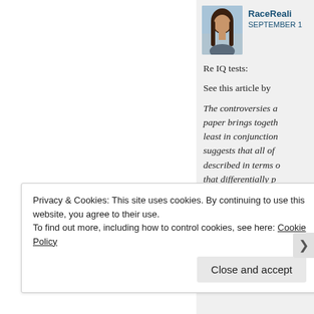[Figure (screenshot): User avatar photo - person with long dark hair]
RaceReali SEPTEMBER 1
Re IQ tests:
See this article by
The controversies a paper brings togeth least in conjunction suggests that all of described in terms o that differentially p and performance de
Privacy & Cookies: This site uses cookies. By continuing to use this website, you agree to their use.
To find out more, including how to control cookies, see here: Cookie Policy
Close and accept